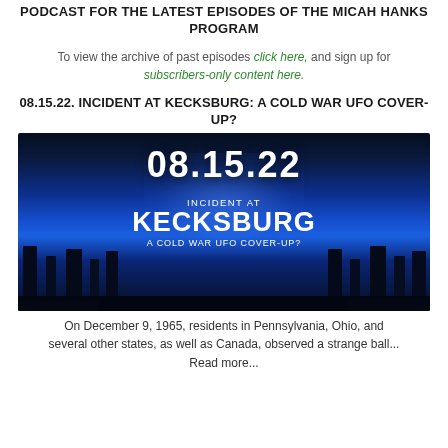PODCAST FOR THE LATEST EPISODES OF THE MICAH HANKS PROGRAM
To view the archive of past episodes click here, and sign up for subscribers-only content here.
08.15.22. INCIDENT AT KECKSBURG: A COLD WAR UFO COVER-UP?
[Figure (photo): Promotional image for podcast episode 08.15.22. Dark moody forest scene with blue lighting and silhouetted trees. White text reads '08.15.22' at top, then 'INCIDENT AT' in smaller text, 'KECKSBURG' in large bold text, and 'A COLD WAR UFO COVER-UP?' below.]
On December 9, 1965, residents in Pennsylvania, Ohio, and several other states, as well as Canada, observed a strange ball... Read more...